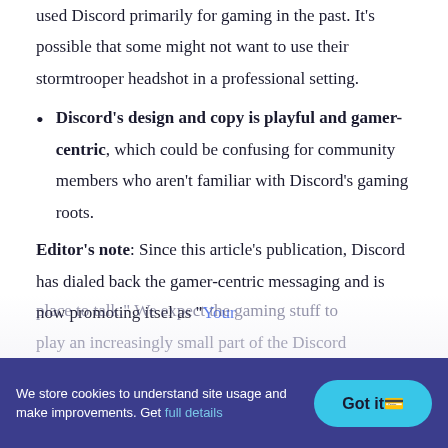used Discord primarily for gaming in the past. It's possible that some might not want to use their stormtrooper headshot in a professional setting.
Discord's design and copy is playful and gamer-centric, which could be confusing for community members who aren't familiar with Discord's gaming roots.
Editor's note: Since this article's publication, Discord has dialed back the gamer-centric messaging and is now promoting itsel as "Your place to talk." We expect the gaming stuff to play an increasingly small part of the Discord
We store cookies to understand site usage and make improvements. Get full details